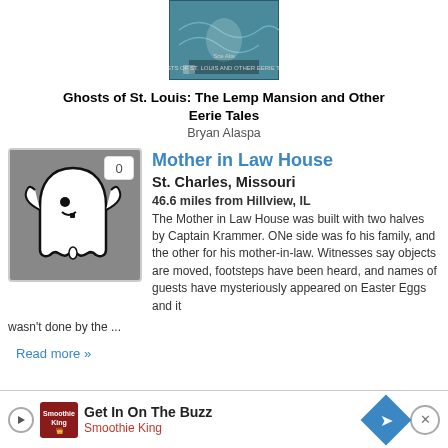[Figure (illustration): Book cover for 'Ghosts of St. Louis: The Lemp Mansion and Other Eerie Tales' — teal/dark cover with ghost imagery]
Ghosts of St. Louis: The Lemp Mansion and Other Eerie Tales
Bryan Alaspa
[Figure (illustration): Ghost icon on dark grey background with a badge showing '0']
Mother in Law House
St. Charles, Missouri
46.6 miles from Hillview, IL
The Mother in Law House was built with two halves by Captain Krammer. ONe side was for his family, and the other for his mother-in-law. Witnesses say objects are moved, footsteps have been heard, and names of guests have mysteriously appeared on Easter Eggs and it wasn't done by the ...
Read more »
Get In On The Buzz
Smoothie King